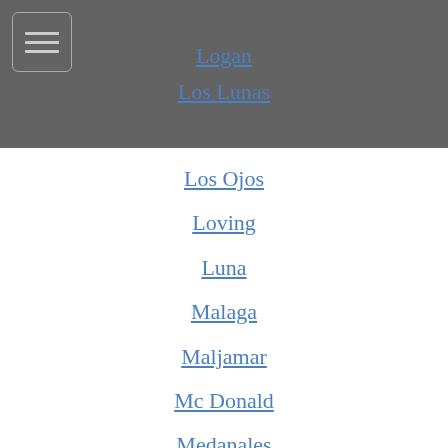Logan
Los Lunas
Los Ojos
Loving
Luna
Malaga
Maljamar
Mc Donald
Medanales
Melrose